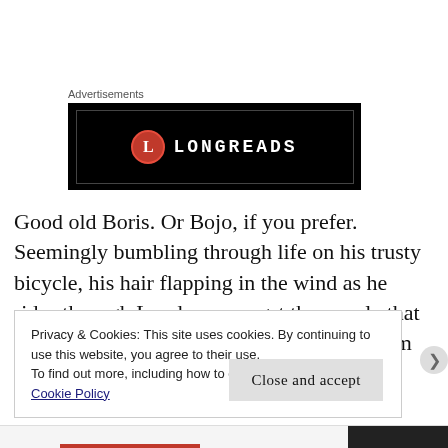Advertisements
[Figure (logo): Longreads advertisement banner — black background with white/red Longreads logo: red circle with white 'L' and LONGREADS text in white monospace letters]
Good old Boris. Or Bojo, if you prefer. Seemingly bumbling through life on his trusty bicycle, his hair flapping in the wind as he rides through London amongst the people that elected him to be their mayor. Most of whom he should probably have offended one
Privacy & Cookies: This site uses cookies. By continuing to use this website, you agree to their use.
To find out more, including how to control cookies, see here:
Cookie Policy
Close and accept